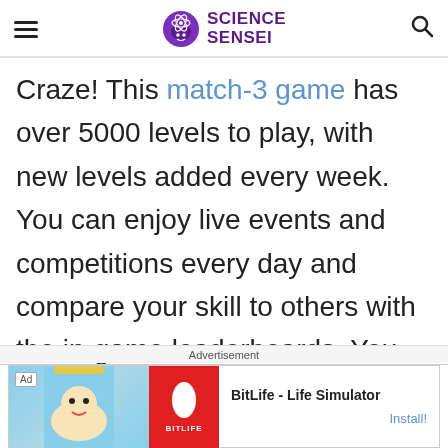Science Sensei
Craze! This match-3 game has over 5000 levels to play, with new levels added every week. You can enjoy live events and competitions every day and compare your skill to others with the in-game leaderboards. You can also play offline if you don't have access to wifi – your game will sync up the next time you can get
Advertisement
[Figure (screenshot): BitLife - Life Simulator advertisement banner with game logo and Install button]